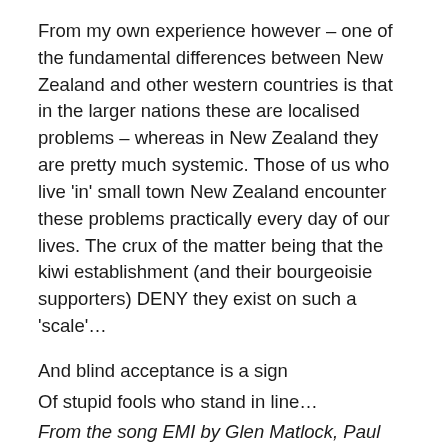From my own experience however – one of the fundamental differences between New Zealand and other western countries is that in the larger nations these are localised problems – whereas in New Zealand they are pretty much systemic. Those of us who live 'in' small town New Zealand encounter these problems practically every day of our lives. The crux of the matter being that the kiwi establishment (and their bourgeoisie supporters) DENY they exist on such a 'scale'…
And blind acceptance is a sign
Of stupid fools who stand in line…
From the song EMI by Glen Matlock, Paul Cook, Steve Jones, & John Lydon
Despite some of the worst poverty and homelessness – and the highest rate of family violence in the OECD – in